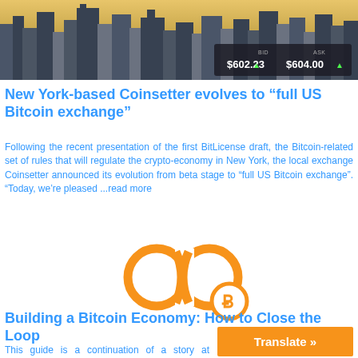[Figure (photo): Aerial view of a city skyline (New York) with tall skyscrapers at dusk/sunset, with a Bitcoin price ticker overlay showing BID $602.23 and ASK $604.00]
New York-based Coinsetter evolves to “full US Bitcoin exchange”
Following the recent presentation of the first BitLicense draft, the Bitcoin-related set of rules that will regulate the crypto-economy in New York, the local exchange Coinsetter announced its evolution from beta stage to “full US Bitcoin exchange”. “Today, we’re pleased ...read more
[Figure (logo): Orange infinity loop symbol with a Bitcoin logo (circle with B) on the right side, on white background]
Building a Bitcoin Economy: How to Close the Loop
This guide is a continuation of a story at http://bitcoinmagazine.com/13194...